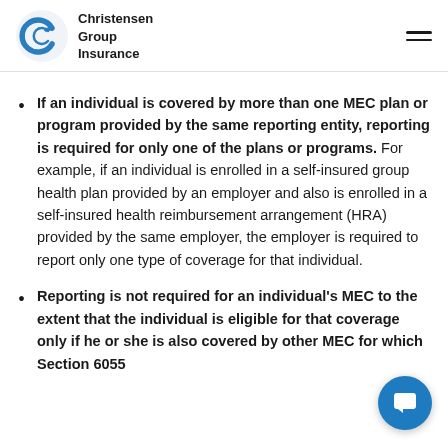Christensen Group Insurance
If an individual is covered by more than one MEC plan or program provided by the same reporting entity, reporting is required for only one of the plans or programs. For example, if an individual is enrolled in a self-insured group health plan provided by an employer and also is enrolled in a self-insured health reimbursement arrangement (HRA) provided by the same employer, the employer is required to report only one type of coverage for that individual.
Reporting is not required for an individual's MEC to the extent that the individual is eligible for that coverage only if he or she is also covered by other MEC for which Section 6055